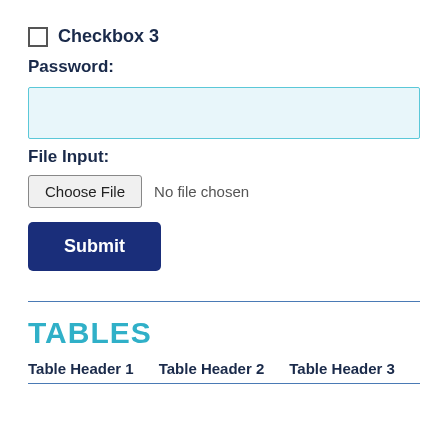☐ Checkbox 3
Password:
[Figure (other): Empty password input field with light blue background and teal border]
File Input:
[Figure (other): File input with 'Choose File' button and 'No file chosen' text]
[Figure (other): Submit button, dark navy blue]
TABLES
| Table Header 1 | Table Header 2 | Table Header 3 |
| --- | --- | --- |